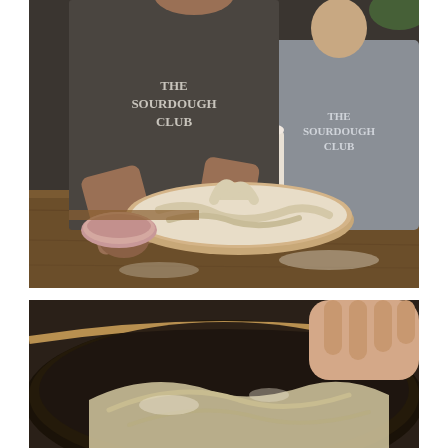[Figure (photo): Two people wearing 'The Sourdough Club' t-shirts. The person in the foreground, wearing a dark grey t-shirt, is kneading dough in a large ceramic bowl on a wooden table. A small pink ceramic bowl is nearby. A second person in a grey t-shirt stands in the background.]
[Figure (photo): Close-up of hands working dough in a dark glazed ceramic bowl or pan, with flour dusted dough being stretched or folded.]